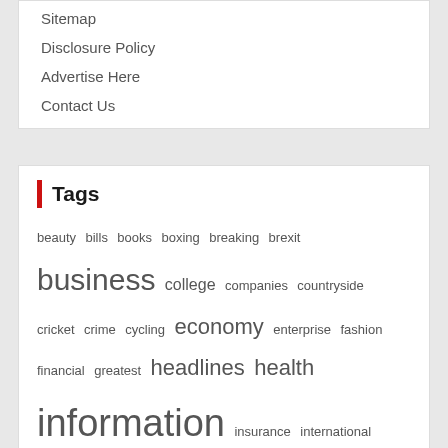Sitemap
Disclosure Policy
Advertise Here
Contact Us
Tags
beauty bills books boxing breaking brexit business college companies countryside cricket crime cycling economy enterprise fashion financial greatest headlines health information insurance international journey latest luxury music newest offers online opera opinion outcomes politics property results rugby science society system theatre tours travel union world